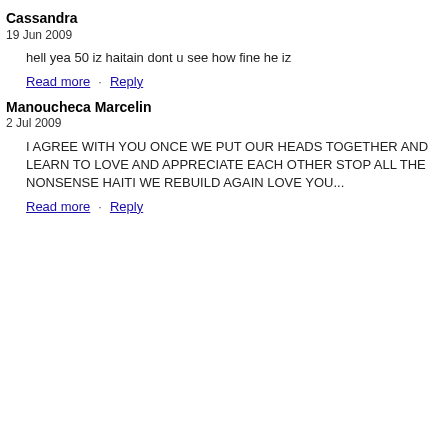Cassandra
19 Jun 2009
hell yea 50 iz haitain dont u see how fine he iz
Read more · Reply
Manoucheca Marcelin
2 Jul 2009
I AGREE WITH YOU ONCE WE PUT OUR HEADS TOGETHER AND LEARN TO LOVE AND APPRECIATE EACH OTHER STOP ALL THE NONSENSE HAITI WE REBUILD AGAIN LOVE YOU...
Read more · Reply